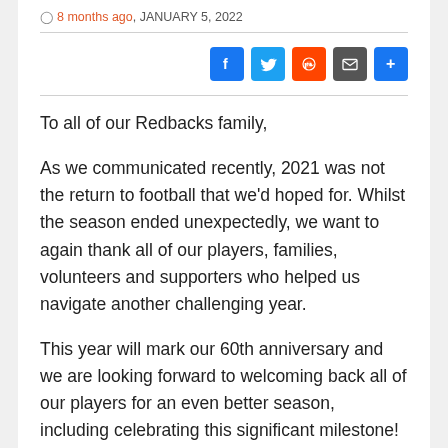8 months ago, JANUARY 5, 2022
[Figure (infographic): Social sharing buttons: Facebook, Twitter, Reddit, Email, Share]
To all of our Redbacks family,
As we communicated recently, 2021 was not the return to football that we'd hoped for. Whilst the season ended unexpectedly, we want to again thank all of our players, families, volunteers and supporters who helped us navigate another challenging year.
This year will mark our 60th anniversary and we are looking forward to welcoming back all of our players for an even better season, including celebrating this significant milestone!
We look forward to seeing you all in 2022 and wish you a safe and happy holiday season.